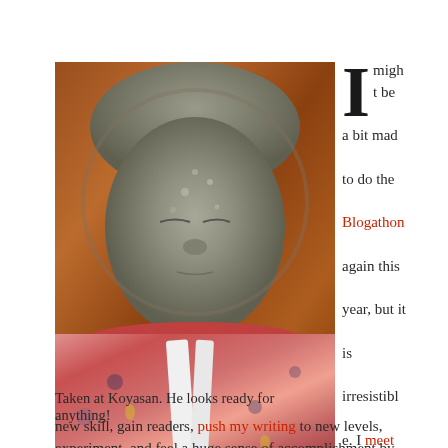[Figure (photo): A stone Buddhist statue with a weathered face and closed eyes, wearing a red floral kimono with white ties at the neck, photographed at Koyasan against a warm brown wooden background.]
I might be a bit mad to do the Blogathon again this year, but it is irresistible. I meet new people, learn a new skill, gain readers, push my writing to new levels, experiment, and feel a huge sense of accomplishment by
Taken at Koyasan. He looks ready for anything!